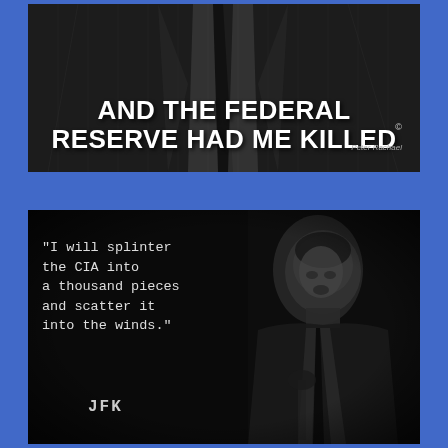[Figure (photo): Black and white image of a person in a pinstripe suit with bold white text overlay reading 'AND THE FEDERAL RESERVE HAD ME KILLED' with a copyright symbol and small watermark/signature]
[Figure (photo): Black and white photo of JFK speaking at a podium/microphone, with typewriter-font quote text on the left: '"I will splinter the CIA into a thousand pieces and scatter it into the winds."' attributed to JFK at the bottom]